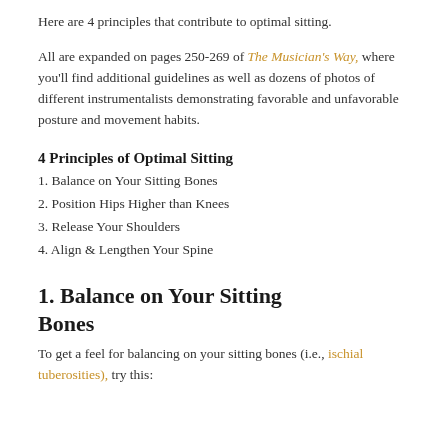Here are 4 principles that contribute to optimal sitting.
All are expanded on pages 250-269 of The Musician's Way, where you'll find additional guidelines as well as dozens of photos of different instrumentalists demonstrating favorable and unfavorable posture and movement habits.
4 Principles of Optimal Sitting
1. Balance on Your Sitting Bones
2. Position Hips Higher than Knees
3. Release Your Shoulders
4. Align & Lengthen Your Spine
1. Balance on Your Sitting Bones
To get a feel for balancing on your sitting bones (i.e., ischial tuberosities), try this: